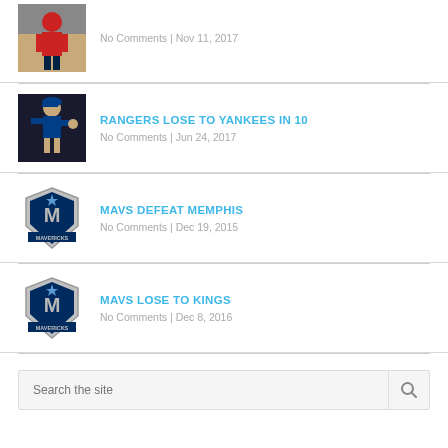[Figure (photo): Basketball player in red uniform on court]
No Comments | Nov 11, 2017
[Figure (photo): Baseball player (pitcher) in Rangers uniform]
RANGERS LOSE TO YANKEES IN 10
No Comments | Jun 24, 2017
[Figure (logo): Dallas Mavericks logo]
MAVS DEFEAT MEMPHIS
No Comments | Dec 19, 2015
[Figure (logo): Dallas Mavericks logo]
MAVS LOSE TO KINGS
No Comments | Dec 8, 2016